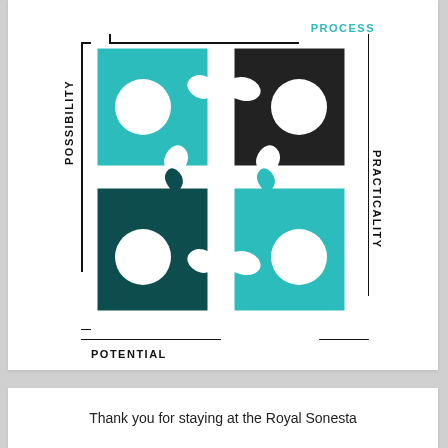[Figure (illustration): A 2x2 puzzle diagram with four interlocking puzzle pieces labeled with the words PROCESS (top, teal), POSSIBILITY (left, black vertical), PRACTICALITY (right, black vertical), and POTENTIAL (bottom, black). Top-left piece is teal, top-right is dark/black, bottom-left is dark teal, bottom-right is teal. Bracket lines connect the labels to the puzzle grid.]
Thank you for staying at the Royal Sonesta